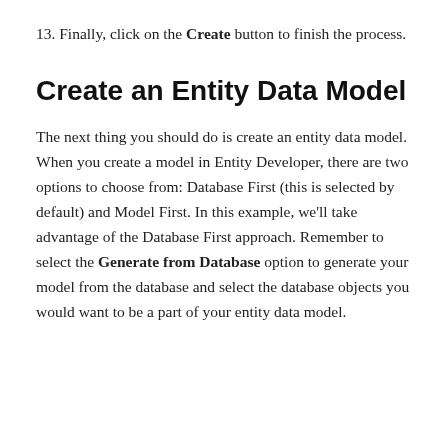13. Finally, click on the Create button to finish the process.
Create an Entity Data Model
The next thing you should do is create an entity data model. When you create a model in Entity Developer, there are two options to choose from: Database First (this is selected by default) and Model First. In this example, we'll take advantage of the Database First approach. Remember to select the Generate from Database option to generate your model from the database and select the database objects you would want to be a part of your entity data model.